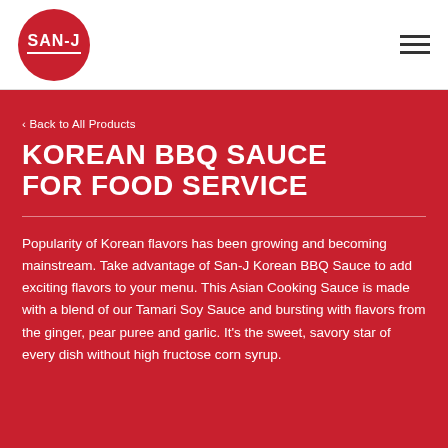[Figure (logo): SAN-J logo: red circle with white SAN-J text and horizontal line]
‹ Back to All Products
KOREAN BBQ SAUCE FOR FOOD SERVICE
Popularity of Korean flavors has been growing and becoming mainstream. Take advantage of San-J Korean BBQ Sauce to add exciting flavors to your menu. This Asian Cooking Sauce is made with a blend of our Tamari Soy Sauce and bursting with flavors from the ginger, pear puree and garlic. It's the sweet, savory star of every dish without high fructose corn syrup.